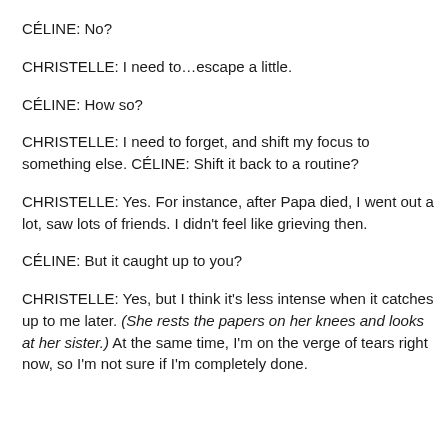CÉLINE: No?
CHRISTELLE: I need to…escape a little.
CÉLINE: How so?
CHRISTELLE: I need to forget, and shift my focus to something else. CÉLINE: Shift it back to a routine?
CHRISTELLE: Yes. For instance, after Papa died, I went out a lot, saw lots of friends. I didn't feel like grieving then.
CÉLINE: But it caught up to you?
CHRISTELLE: Yes, but I think it's less intense when it catches up to me later. (She rests the papers on her knees and looks at her sister.) At the same time, I'm on the verge of tears right now, so I'm not sure if I'm completely done.